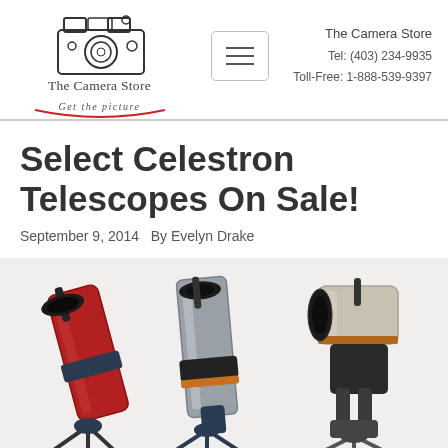[Figure (logo): The Camera Store logo — vintage medium format camera illustration with 'The Camera Store' text and 'Get the picture' tagline with red arc underline]
[Figure (other): Hamburger menu button icon — three horizontal lines in a rounded rectangle border]
The Camera Store
Tel: (403) 234-9935
Toll-Free: 1-888-539-9397
Select Celestron Telescopes On Sale!
September 9, 2014   By Evelyn Drake
[Figure (photo): Three Celestron telescopes side by side: a red reflector telescope on the left, a silver/black telescope in the center, and a beige/silver Schmidt-Cassegrain telescope on the right, all mounted on dark tripods/mounts]